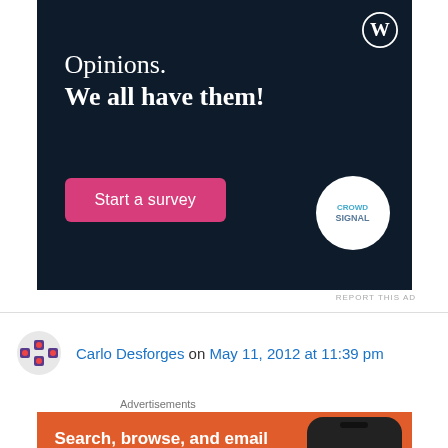[Figure (illustration): WordPress/Crowdsignal advertisement banner with dark navy background. Text reads 'Opinions. We all have them!' with a pink 'Start a survey' button and Crowdsignal logo circle.]
REPORT THIS AD
Carlo Desforges on May 11, 2012 at 11:39 pm
Advertisements
[Figure (illustration): DuckDuckGo advertisement with orange background. Text: 'Search, browse, and email with more privacy. All in One Free App' with phone image and DuckDuckGo logo.]
REPORT THIS AD